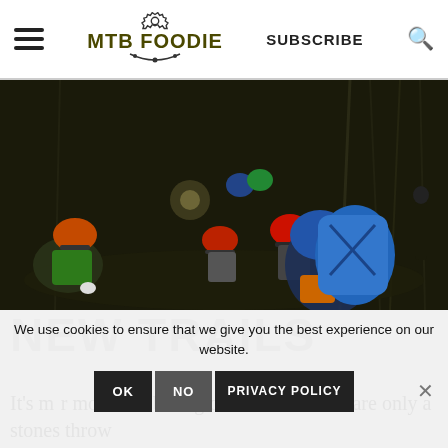MTB FOODIE — SUBSCRIBE
[Figure (photo): Group of mountain bikers with helmets gathered on a dark night trail surrounded by bare trees, illuminated by bike lights. Riders wearing colorful helmets (orange, red, blue, green) and a blue backpack visible in foreground.]
NEW TRAILS
It's mountain biking on new trails that are only a stones throw
We use cookies to ensure that we give you the best experience on our website.
OK   NO   PRIVACY POLICY